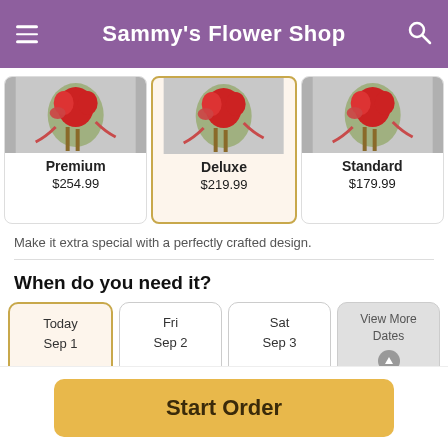Sammy's Flower Shop
[Figure (screenshot): Three flower arrangement product cards: Premium $254.99, Deluxe $219.99 (selected/highlighted), Standard $179.99]
Make it extra special with a perfectly crafted design.
When do you need it?
[Figure (other): Date selection cards: Today Sep 1 (selected), Fri Sep 2, Sat Sep 3, View More Dates]
Start Order